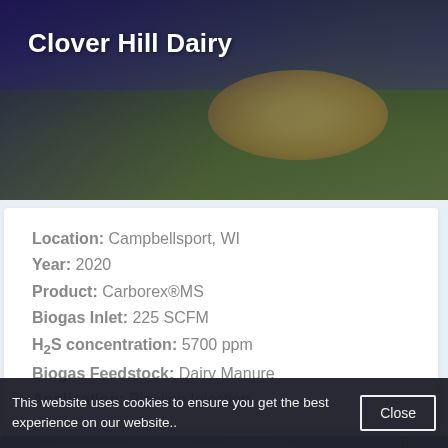[Figure (photo): Aerial/ground-level photo of Clover Hill Dairy facility with grass and dirt visible, dark sky in background]
Clover Hill Dairy
Location: Campbellsport, WI
Year: 2020
Product: Carborex®MS
Biogas Inlet: 225 SCFM
H2S concentration: 5700 ppm
Biogas Feedstock: Dairy Manure
Application: Pipeline Injection
[Figure (photo): Photo of facility with cloudy blue sky and pole visible]
This website uses cookies to ensure you get the best experience on our website..